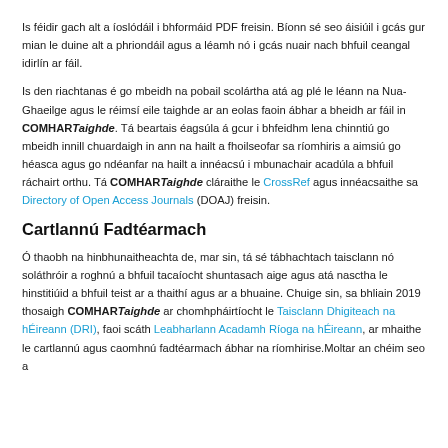Is féidir gach alt a íoslódáil i bhformáid PDF freisin. Bíonn sé seo áisiúil i gcás gur mian le duine alt a phriondáil agus a léamh nó i gcás nuair nach bhfuil ceangal idirlín ar fáil.
Is den riachtanas é go mbeidh na pobail scolártha atá ag plé le léann na Nua-Ghaeilge agus le réimsí eile taighde ar an eolas faoin ábhar a bheidh ar fáil in COMHARTaighde. Tá beartais éagsúla á gcur i bhfeidhm lena chinntiú go mbeidh innill chuardaigh in ann na hailt a fhoilseofar sa ríomhiris a aimsiú go héasca agus go ndéanfar na hailt a innéacsú i mbunachair acadúla a bhfuil ráchairt orthu. Tá COMHARTaighde cláraithe le CrossRef agus innéacsaithe sa Directory of Open Access Journals (DOAJ) freisin.
Cartlannú Fadtéarmach
Ó thaobh na hinbhunaitheachta de, mar sin, tá sé tábhachtach taisclann nó soláthróir a roghnú a bhfuil tacaíocht shuntasach aige agus atá nasctha le hinstitiúid a bhfuil teist ar a thaithí agus ar a bhuaine. Chuige sin, sa bhliain 2019 thosaigh COMHARTaighde ar chomhpháirtíocht le Taisclann Dhigiteach na hÉireann (DRI), faoi scáth Leabharlann Acadamh Ríoga na hÉireann, ar mhaithe le cartlannú agus caomhnú fadtéarmach ábhar na ríomhirise.Moltar an chéim seo a